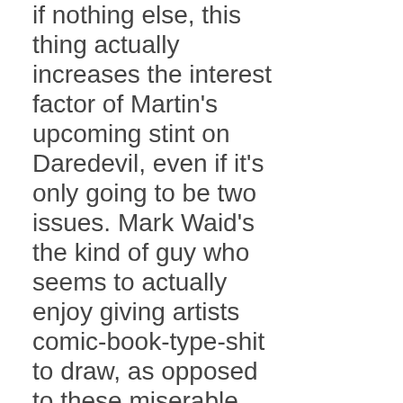if nothing else, this thing actually increases the interest factor of Martin's upcoming stint on Daredevil, even if it's only going to be two issues. Mark Waid's the kind of guy who seems to actually enjoy giving artists comic-book-type-shit to draw, as opposed to these miserable fucks who seem to think that a 25 dollar book about poorly drawn heads arguing in poorly drawn rooms is the pinnacle of achievement, and you just know that